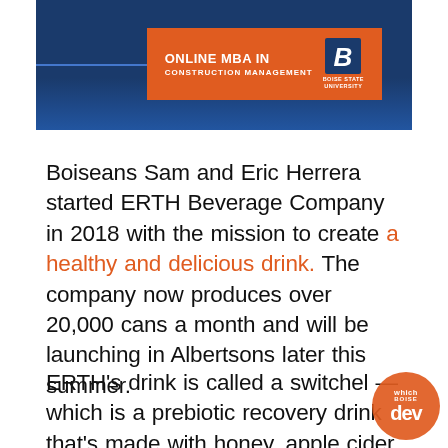[Figure (other): Online MBA in Construction Management advertisement banner for Boise State University with orange badge on dark blue background]
Boiseans Sam and Eric Herrera started ERTH Beverage Company in 2018 with the mission to create a healthy and delicious drink. The company now produces over 20,000 cans a month and will be launching in Albertsons later this summer.
ERTH's drink is called a switchel — which is a prebiotic recovery drink that's made with honey, apple cider vinegar, and